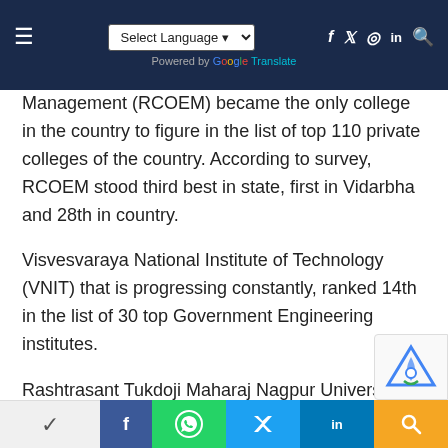Select Language | Powered by Google Translate | Navigation icons
Management (RCOEM) became the only college in the country to figure in the list of top 110 private colleges of the country. According to survey, RCOEM stood third best in state, first in Vidarbha and 28th in country.
Visvesvaraya National Institute of Technology (VNIT) that is progressing constantly, ranked 14th in the list of 30 top Government Engineering institutes.
Rashtrasant Tukdoji Maharaj Nagpur University (RTMNU) stands 4th among top universities in Maharashtra.
Share bar: Facebook, WhatsApp, Twitter, LinkedIn, Search